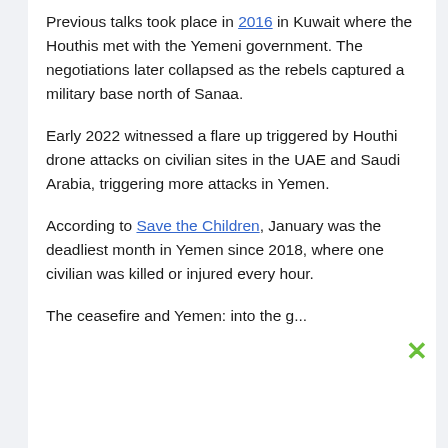Previous talks took place in 2016 in Kuwait where the Houthis met with the Yemeni government. The negotiations later collapsed as the rebels captured a military base north of Sanaa.
Early 2022 witnessed a flare up triggered by Houthi drone attacks on civilian sites in the UAE and Saudi Arabia, triggering more attacks in Yemen.
According to Save the Children, January was the deadliest month in Yemen since 2018, where one civilian was killed or injured every hour.
The ceasefire and Yemen: into the global...